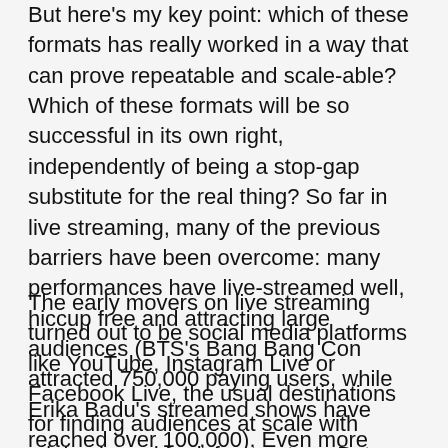But here's my key point: which of these formats has really worked in a way that can prove repeatable and scale-able? Which of these formats will be so successful in its own right, independently of being a stop-gap substitute for the real thing? So far in live streaming, many of the previous barriers have been overcome: many performances have live-streamed well, hiccup free and attracting large audiences (BTS's Bang Bang Con attracted 750,000 paying users, while Erika Badu's streamed shows have reached over 100,000). Even more importantly, the 'willingness to pay' question has been answered with an emphatic yes.
The early movers on live streaming turned out to be social media platforms like YouTube, Instagram Live or Facebook Live, the usual destinations for finding audiences at scale with minimal need for infrastructure. But a series of new platforms have been building up traction, including StageIt, Maestro, Side Door and of course, the lockdown success story Zoom. Some artists like Erykah Badu even created their own.